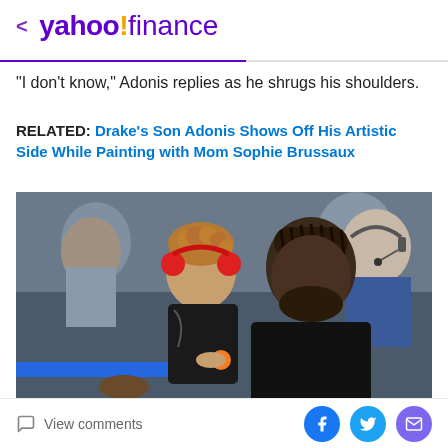< yahoo!finance
"I don't know," Adonis replies as he shrugs his shoulders.
RELATED: Drake's Son Adonis Shows Off His Artistic Side While Painting with Mom Sophie Brussaux
[Figure (photo): Drake and his son Adonis sitting courtside at a basketball game. Adonis has curly hair and is wearing a black shiny jacket with red ear protection headphones, holding a small orange. Drake is wearing black and has braided hair.]
View comments